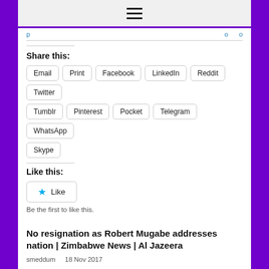☰
Share this:
Email | Print | Facebook | LinkedIn | Reddit | Twitter
Tumblr | Pinterest | Pocket | Telegram | WhatsApp
Skype
Like this:
★ Like
Be the first to like this.
No resignation as Robert Mugabe addresses nation | Zimbabwe News | Al Jazeera
smeddum   18 Nov 2017